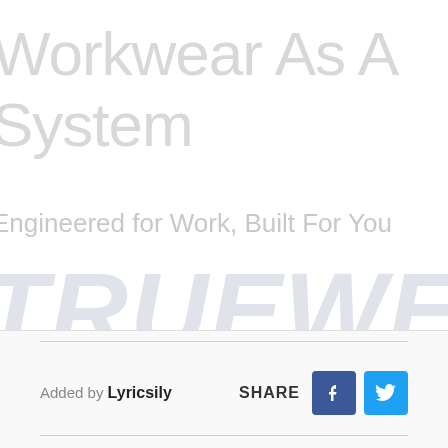Workwear As A System
Engineered for Work, Built For You
[Figure (logo): TRUEWERK brand watermark text in large italic bold light grey letters]
Added by Lyricsily
SHARE with Facebook and Twitter buttons